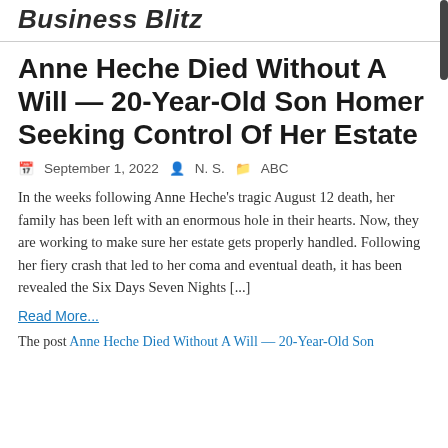Business Blitz
Anne Heche Died Without A Will — 20-Year-Old Son Homer Seeking Control Of Her Estate
September 1, 2022   N. S.   ABC
In the weeks following Anne Heche's tragic August 12 death, her family has been left with an enormous hole in their hearts. Now, they are working to make sure her estate gets properly handled. Following her fiery crash that led to her coma and eventual death, it has been revealed the Six Days Seven Nights [...]
Read More...
The post Anne Heche Died Without A Will — 20-Year-Old Son